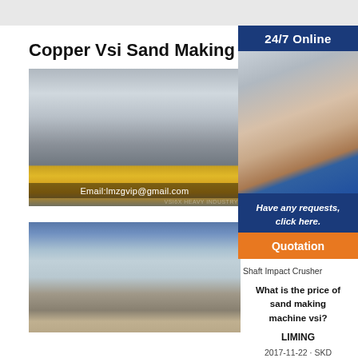Copper Vsi Sand Making Mac…
[Figure (photo): Yellow cone crusher machine in an industrial warehouse with watermark 'Email:lmzgvip@gmail.com' and 'VSI6X HEAVY INDUSTRY']
[Figure (photo): Outdoor industrial sand making plant with conveyor belts and excavator under blue sky]
[Figure (photo): Customer service representative with headset, 24/7 Online banner, 'Have any requests, click here.' text, and Quotation button]
Shaft Impact Crusher
What is the price of sand making machine vsi?
LIMING
2017-11-22 · SKD Heavy Industry sand